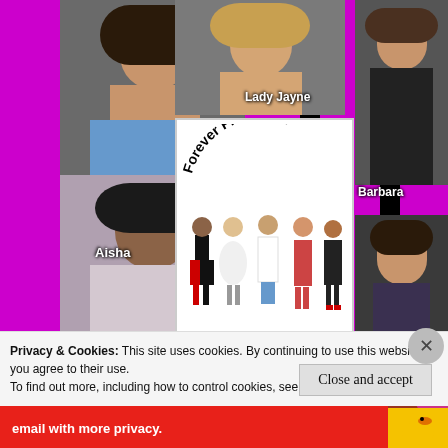[Figure (photo): Collage of photos of women on magenta/black striped background. People labeled: Lady Jayne (top center), Aisha (left middle), Barbara (top right), Tara (right middle), Michelle (bottom left), Jeanette (bottom center). Center shows Forever Fierce Day illustration dated February 19, 2018.]
Privacy & Cookies: This site uses cookies. By continuing to use this website, you agree to their use.
To find out more, including how to control cookies, see here: Cookie Policy
Close and accept
email with more privacy.